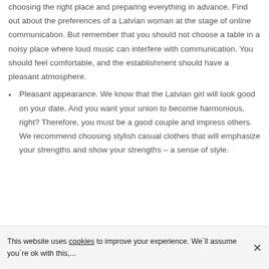choosing the right place and preparing everything in advance. Find out about the preferences of a Latvian woman at the stage of online communication. But remember that you should not choose a table in a noisy place where loud music can interfere with communication. You should feel comfortable, and the establishment should have a pleasant atmosphere.
Pleasant appearance. We know that the Latvian girl will look good on your date. And you want your union to become harmonious, right? Therefore, you must be a good couple and impress others. We recommend choosing stylish casual clothes that will emphasize your strengths and show your strengths – a sense of style.
This website uses cookies to improve your experience. We`ll assume you`re ok with this,...